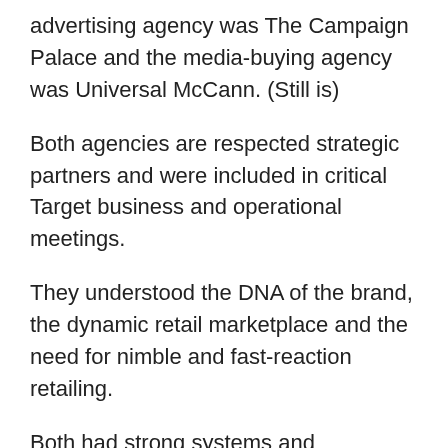advertising agency was The Campaign Palace and the media-buying agency was Universal McCann. (Still is)
Both agencies are respected strategic partners and were included in critical Target business and operational meetings.
They understood the DNA of the brand, the dynamic retail marketplace and the need for nimble and fast-reaction retailing.
Both had strong systems and processes to deliver quick turn-around tactical support advertising, when needed.
If sales were slow on a Thursday and the decision was made by 1pm to provide extra support to that week's campaign, then we could have national radio in the